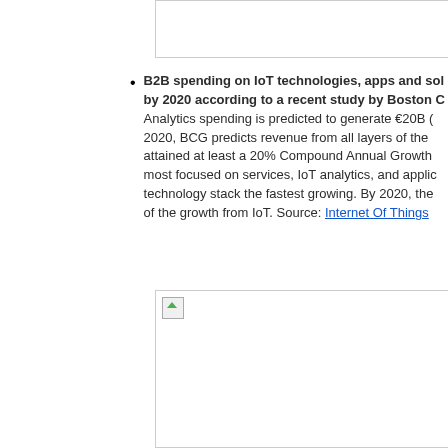[Figure (other): Top partial image/content box, mostly white with border, content cut off]
B2B spending on IoT technologies, apps and solutions is forecast to reach €250B by 2020 according to a recent study by Boston Consulting Group (BCG). Analytics spending is predicted to generate €20B (... 2020, BCG predicts revenue from all layers of the ... attained at least a 20% Compound Annual Growth ... most focused on services, IoT analytics, and applic... technology stack the fastest growing. By 2020, the ... of the growth from IoT. Source: Internet Of Things...
[Figure (other): Bottom partial image/content box with broken image icon in top-left corner]